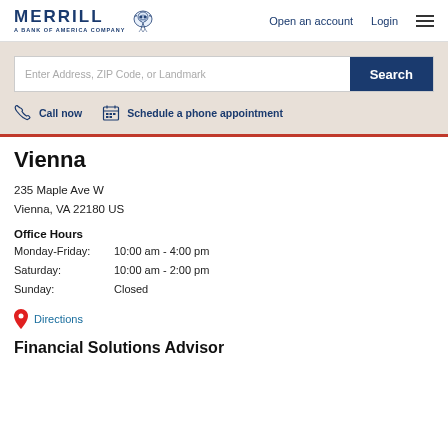MERRILL A BANK OF AMERICA COMPANY | Open an account | Login
[Figure (screenshot): Search bar with placeholder 'Enter Address, ZIP Code, or Landmark' and a dark blue Search button]
Call now   Schedule a phone appointment
Vienna
235 Maple Ave W
Vienna, VA 22180 US
Office Hours
Monday-Friday:    10:00 am - 4:00 pm
Saturday:    10:00 am - 2:00 pm
Sunday:    Closed
Directions
Financial Solutions Advisor